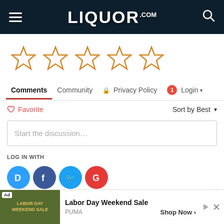LIQUOR.COM
[Figure (other): Five empty/outline star rating icons in gold/orange color]
Comments  Community  🔒 Privacy Policy  1 Login ▾
♡ Favorite   Sort by Best ▾
Start the discussion…
LOG IN WITH
[Figure (other): Social login icons: Disqus (blue), Facebook (dark blue), Twitter (light blue), Google (red)]
OR SIGN UP WITH DISQUS ?
[Figure (other): Advertisement banner: Labor Day Weekend Sale - PUMA, Shop Now >]